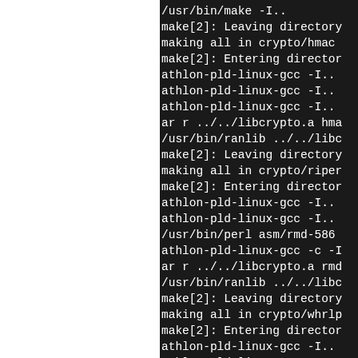[Figure (screenshot): Terminal output showing a Linux build process using make and gcc compiler commands for crypto modules including hmac, ripemd, and whirlpool. Commands include make[2] directory messages, athlon-pld-linux-gcc compile commands, ar archive commands, ranlib commands, and perl asm generation commands.]